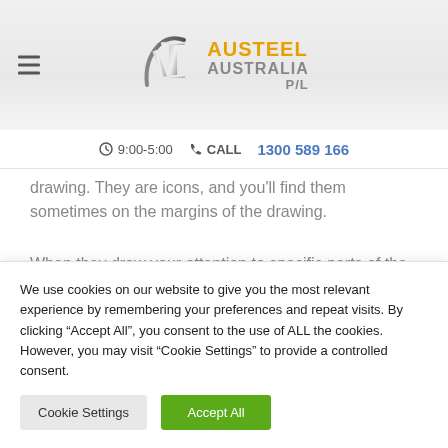[Figure (logo): Austeel Australia P/L logo with steel beam icon and orange/grey text]
9:00-5:00  CALL  1300 589 166
drawing. They are icons, and you'll find them sometimes on the margins of the drawing.
When they draw your attention to specific parts of the drawing, it is to give more information regarding the
We use cookies on our website to give you the most relevant experience by remembering your preferences and repeat visits. By clicking "Accept All", you consent to the use of ALL the cookies. However, you may visit "Cookie Settings" to provide a controlled consent.